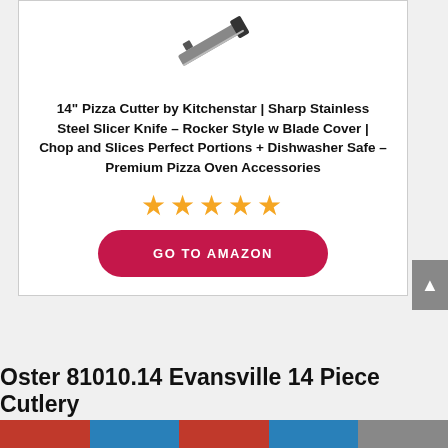[Figure (photo): Product image of a pizza cutter rocker knife, stainless steel blade partially visible at top of card]
14" Pizza Cutter by Kitchenstar | Sharp Stainless Steel Slicer Knife – Rocker Style w Blade Cover | Chop and Slices Perfect Portions + Dishwasher Safe – Premium Pizza Oven Accessories
[Figure (other): Five gold/orange star rating icons]
GO TO AMAZON
Oster 81010.14 Evansville 14 Piece Cutlery